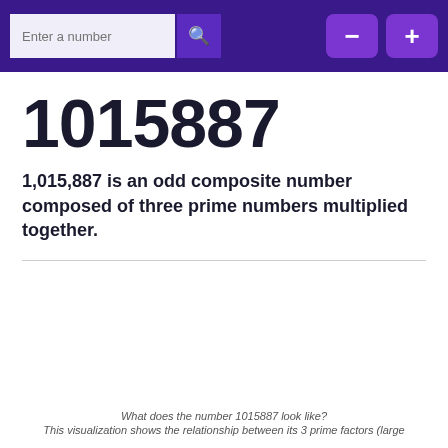[Figure (screenshot): Navigation bar with search input field 'Enter a number', search button with magnifying glass icon, minus button, and plus button on a dark purple background]
1015887
1,015,887 is an odd composite number composed of three prime numbers multiplied together.
What does the number 1015887 look like? This visualization shows the relationship between its 3 prime factors (large